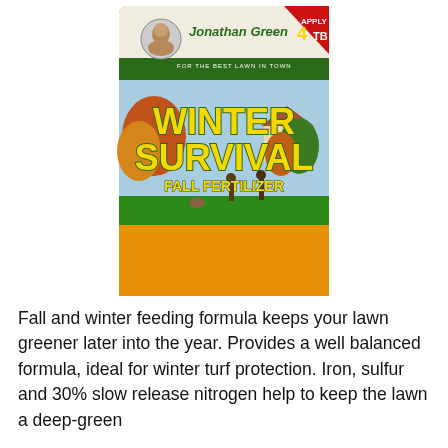[Figure (photo): Jonathan Green Winter Survival Fall Fertilizer bag. Orange bag with green header band showing Jonathan Green logo with portrait and tagline 'FOR THE BEST LAWN IN TOWN'. Red corner badge reads 'APPLY 4TB'. Main label shows large bold yellow/green text 'WINTER SURVIVAL' with 'FALL FERTILIZER' below. Background image shows people on a green lawn with autumn trees and a suburban house.]
Fall and winter feeding formula keeps your lawn greener later into the year. Provides a well balanced formula, ideal for winter turf protection. Iron, sulfur and 30% slow release nitrogen help to keep the lawn a deep-green